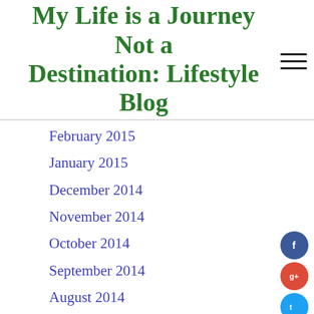My Life is a Journey Not a Destination: Lifestyle Blog
February 2015
January 2015
December 2014
November 2014
October 2014
September 2014
August 2014
July 2014
June 2014
May 2014
April 2014
March 2014
February 2014
January 2014
December 2013
November 2013